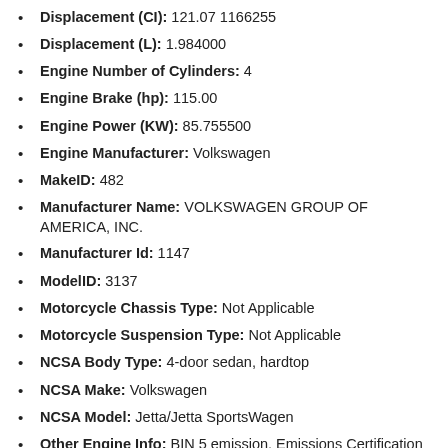Displacement (CI): 121.07 1166255
Displacement (L): 1.984000
Engine Number of Cylinders: 4
Engine Brake (hp): 115.00
Engine Power (KW): 85.755500
Engine Manufacturer: Volkswagen
MakeID: 482
Manufacturer Name: VOLKSWAGEN GROUP OF AMERICA, INC.
Manufacturer Id: 1147
ModelID: 3137
Motorcycle Chassis Type: Not Applicable
Motorcycle Suspension Type: Not Applicable
NCSA Body Type: 4-door sedan, hardtop
NCSA Make: Volkswagen
NCSA Model: Jetta/Jetta SportsWagen
Other Engine Info: BIN 5 emission. Emissions Certification Test Group: DVWXV02.0U36.
Plant City: PUEBLA